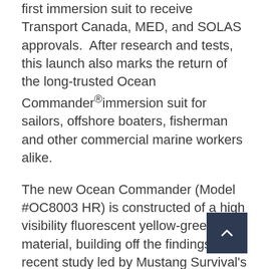first immersion suit to receive Transport Canada, MED, and SOLAS approvals.  After research and tests, this launch also marks the return of the long-trusted Ocean Commander®immersion suit for sailors, offshore boaters, fisherman and other commercial marine workers alike.
The new Ocean Commander (Model #OC8003 HR) is constructed of a high visibility fluorescent yellow-green shell material, building off the findings of a recent study led by Mustang Survival's research department. The study, titled On-Water Visibility, found fluorescent yellow-green to be up to four times more detectable in rescue conditions than other common immersion suit colours.
“When we retired the previous Ocean Commander (Model #OC8001) a couple of years ago